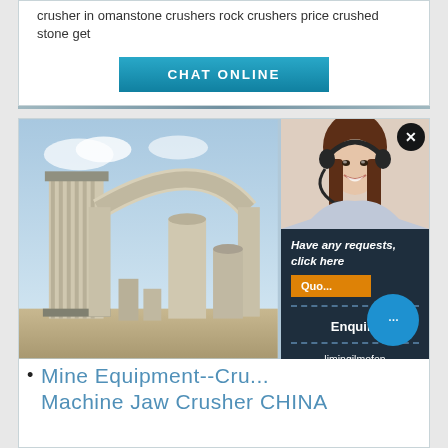crusher in omanstone crushers rock crushers price crushed stone get
CHAT ONLINE
[Figure (photo): Industrial mining/crushing equipment facility with large cylindrical structures, pipes, and dust collection equipment against a blue sky. An overlay panel on the right shows a customer service representative wearing a headset, with text 'Have any requests, click here', a Quote button, Enquiry link, and email limingjlmofen@sina.com]
Mine Equipment--Cru... Machine Jaw Crusher CHINA